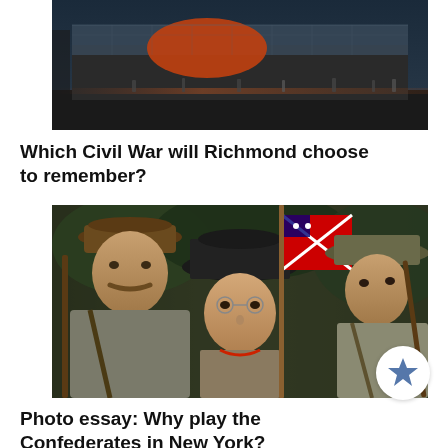[Figure (photo): Exterior view of a modern museum or civic building at dusk with people walking in front, shown from ground level. Glass facade with illuminated orange/red architectural element visible.]
Which Civil War will Richmond choose to remember?
[Figure (photo): Close-up photo of Civil War reenactors in Confederate uniforms holding rifles and a Confederate battle flag. Three figures visible, wearing period-accurate gray uniforms and hats.]
Photo essay: Why play the Confederates in New York?